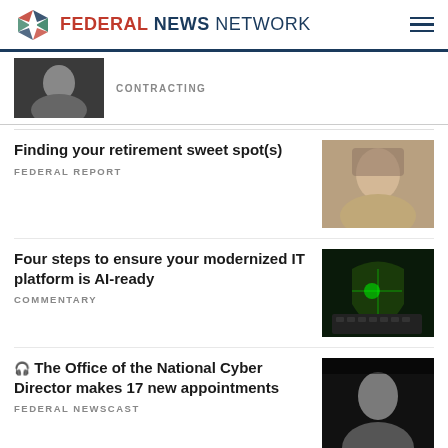FEDERAL NEWS NETWORK
CONTRACTING
Finding your retirement sweet spot(s)
FEDERAL REPORT
Four steps to ensure your modernized IT platform is AI-ready
COMMENTARY
The Office of the National Cyber Director makes 17 new appointments
FEDERAL NEWSCAST
Rethinking OSINT: Informatio…